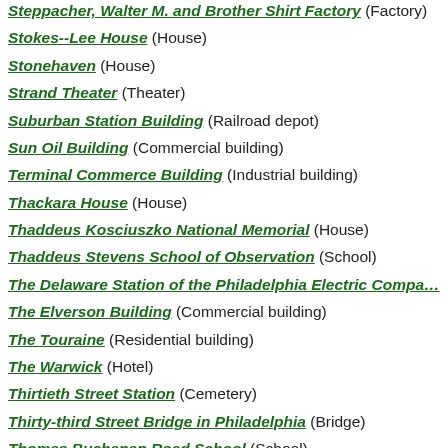Steppacher, Walter M. and Brother Shirt Factory (Factory)
Stokes--Lee House (House)
Stonehaven (House)
Strand Theater (Theater)
Suburban Station Building (Railroad depot)
Sun Oil Building (Commercial building)
Terminal Commerce Building (Industrial building)
Thackara House (House)
Thaddeus Kosciuszko National Memorial (House)
Thaddeus Stevens School of Observation (School)
The Delaware Station of the Philadelphia Electric Compa…
The Elverson Building (Commercial building)
The Touraine (Residential building)
The Warwick (Hotel)
Thirtieth Street Station (Cemetery)
Thirty-third Street Bridge in Philadelphia (Bridge)
Thomas Buchanan Road School (School)